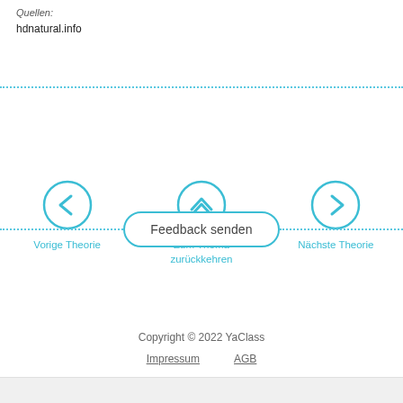Quellen:
hdnatural.info
[Figure (infographic): Navigation buttons: left arrow circle (Vorige Theorie), up chevron circle (Zum Thema zurückkehren), right arrow circle (Nächste Theorie)]
Feedback senden
Copyright © 2022 YaClass
Impressum   AGB